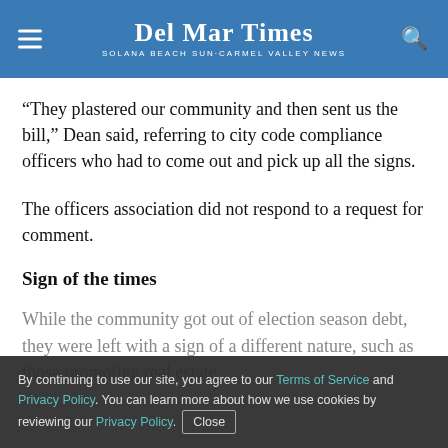Del Mar Times — Solana Beach Sun·Carmel Valley News
“They plastered our community and then sent us the bill,” Dean said, referring to city code compliance officers who had to come out and pick up all the signs.
The officers association did not respond to a request for comment.
Sign of the times
While the community got out of election season debt, they were left with a sign of a different nature, such as those promoting real estate
By continuing to use our site, you agree to our Terms of Service and Privacy Policy. You can learn more about how we use cookies by reviewing our Privacy Policy. Close